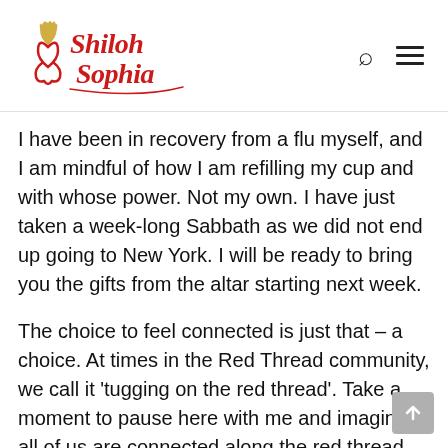Shiloh Sophia [logo with search and menu icons]
I have been in recovery from a flu myself, and I am mindful of how I am refilling my cup and with whose power. Not my own. I have just taken a week-long Sabbath as we did not end up going to New York. I will be ready to bring you the gifts from the altar starting next week.
The choice to feel connected is just that – a choice. At times in the Red Thread community, we call it 'tugging on the red thread'. Take a moment to pause here with me and imagine all of us are connected along the red thread…we are in this together…our connection is real and deeply felt. This is quantum connection. The connection is happening even if you do not feel it right away or